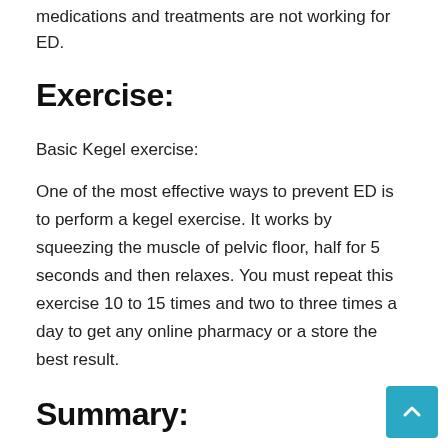medications and treatments are not working for ED.
Exercise:
Basic Kegel exercise:
One of the most effective ways to prevent ED is to perform a kegel exercise. It works by squeezing the muscle of pelvic floor, half for 5 seconds and then relaxes. You must repeat this exercise 10 to 15 times and two to three times a day to get any online pharmacy or a store the best result.
Summary: